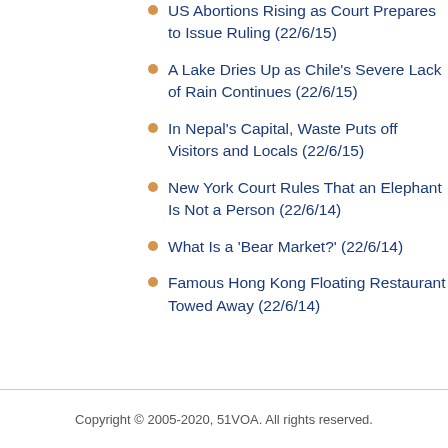US Abortions Rising as Court Prepares to Issue Ruling (22/6/15)
A Lake Dries Up as Chile's Severe Lack of Rain Continues (22/6/15)
In Nepal's Capital, Waste Puts off Visitors and Locals (22/6/15)
New York Court Rules That an Elephant Is Not a Person (22/6/14)
What Is a 'Bear Market?' (22/6/14)
Famous Hong Kong Floating Restaurant Towed Away (22/6/14)
Copyright © 2005-2020, 51VOA. All rights reserved.